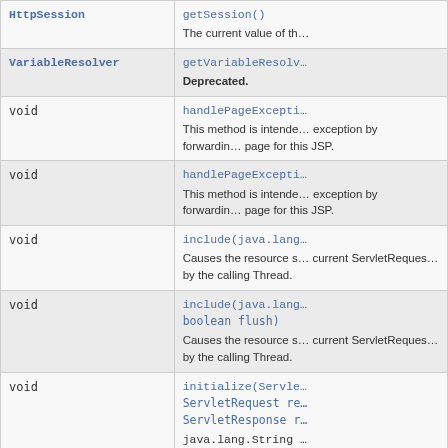| Type | Method and Description |
| --- | --- |
| HttpSession | getSession()
The current value of th… |
| VariableResolver | getVariableResolv…
Deprecated. |
| void | handlePageExcepti…
This method is intende… exception by forwardin… page for this JSP. |
| void | handlePageExcepti…
This method is intende… exception by forwardin… page for this JSP. |
| void | include(java.lang…
Causes the resource s… current ServletReques… by the calling Thread. |
| void | include(java.lang… boolean flush)
Causes the resource s… current ServletReques… by the calling Thread. |
| void | initialize(Servle… ServletRequest re… ServletResponse r… java.lang.String … boolean needsSess… boolean autoFlush… |